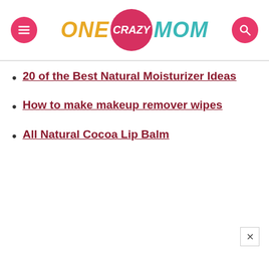[Figure (logo): One Crazy Mom website logo with hamburger menu button on the left and search button on the right. 'ONE' in yellow italic, 'CRAZY' in white on a pink circle, 'MOM' in teal italic.]
20 of the Best Natural Moisturizer Ideas
How to make makeup remover wipes
All Natural Cocoa Lip Balm